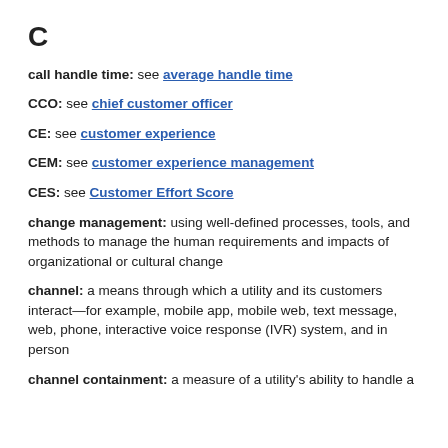C
call handle time: see average handle time
CCO: see chief customer officer
CE: see customer experience
CEM: see customer experience management
CES: see Customer Effort Score
change management: using well-defined processes, tools, and methods to manage the human requirements and impacts of organizational or cultural change
channel: a means through which a utility and its customers interact—for example, mobile app, mobile web, text message, web, phone, interactive voice response (IVR) system, and in person
channel containment: a measure of a utility's ability to handle a